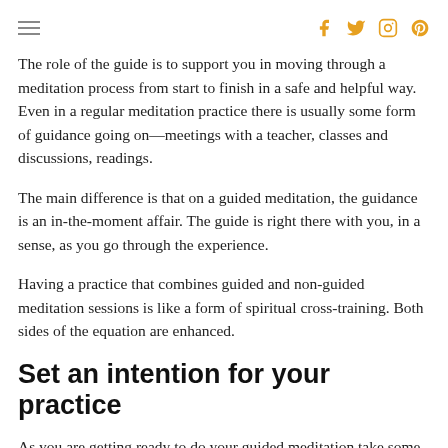≡  [social icons: facebook, twitter, instagram, pinterest]
The role of the guide is to support you in moving through a meditation process from start to finish in a safe and helpful way. Even in a regular meditation practice there is usually some form of guidance going on—meetings with a teacher, classes and discussions, readings.
The main difference is that on a guided meditation, the guidance is an in-the-moment affair. The guide is right there with you, in a sense, as you go through the experience.
Having a practice that combines guided and non-guided meditation sessions is like a form of spiritual cross-training. Both sides of the equation are enhanced.
Set an intention for your practice
As you are getting ready to do your guided meditation take some time to reflect on what you are hoping to get from your